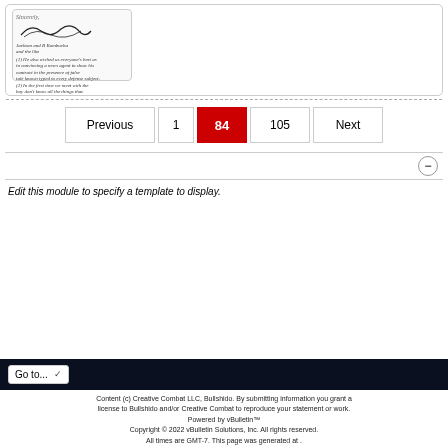[Figure (photo): Handwritten letter/document with a signature at the top and several lines of handwritten text below]
Previous  1  84  105  Next
Edit this module to specify a template to display.
Go to...
Content (c) Creative Combat LLC, Bullshido. By submitting information you grant a license to Bullshido and/or Creative Combat to reproduce your statement or work. Powered by vBulletin™ Copyright © 2022 vBulletin Solutions, Inc. All rights reserved. All times are GMT-7. This page was generated at .